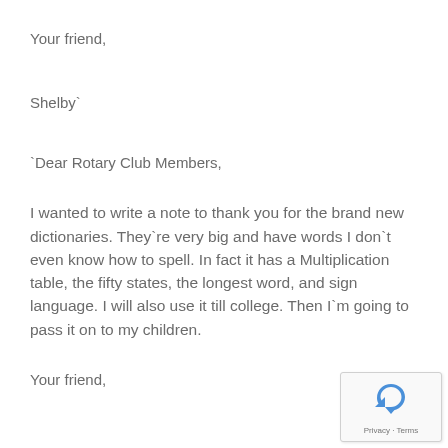Your friend,
Shelby`
`Dear Rotary Club Members,
I wanted to write a note to thank you for the brand new dictionaries. They`re very big and have words I don`t even know how to spell. In fact it has a Multiplication table, the fifty states, the longest word, and sign language. I will also use it till college. Then I`m going to pass it on to my children.
Your friend,